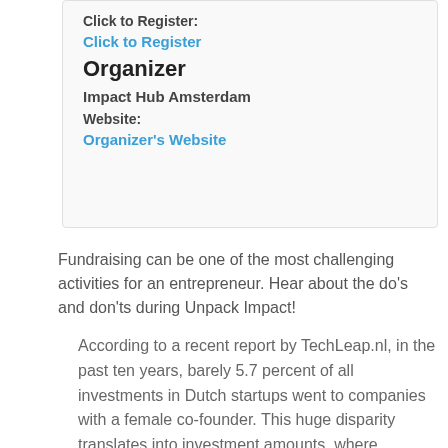Click to Register:
Click to Register
Organizer
Impact Hub Amsterdam
Website:
Organizer's Website
Fundraising can be one of the most challenging activities for an entrepreneur. Hear about the do's and don'ts during Unpack Impact!
According to a recent report by TechLeap.nl, in the past ten years, barely 5.7 percent of all investments in Dutch startups went to companies with a female co-founder. This huge disparity translates into investment amounts, where startups founded by men received an average of